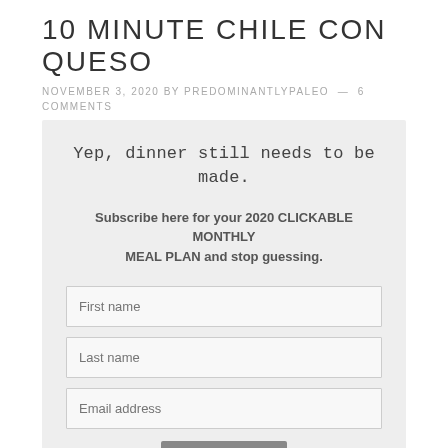10 MINUTE CHILE CON QUESO
NOVEMBER 3, 2020 BY PREDOMINANTLYPALEO — 6 COMMENTS
[Figure (other): Email subscription signup box with headline 'Yep, dinner still needs to be made.', subtext 'Subscribe here for your 2020 CLICKABLE MONTHLY MEAL PLAN and stop guessing.', fields for First name, Last name, Email address, and a Subscribe button.]